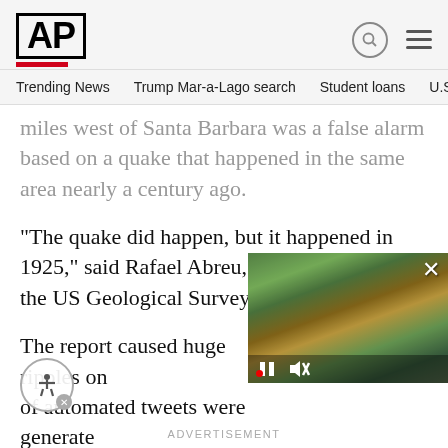AP
Trending News   Trump Mar-a-Lago search   Student loans   U.S
miles west of Santa Barbara was a false alarm based on a quake that happened in the same area nearly a century ago.
“The quake did happen, but it happened in 1925,” said Rafael Abreu, a geophysicist from the US Geological Survey.
The report caused huge ripples on [... of automated tweets were generate[d... citizens were hoping the people of [...
[Figure (screenshot): Video overlay showing aerial view of a building/estate with video playback controls (pause, mute, close)]
ADVERTISEMENT